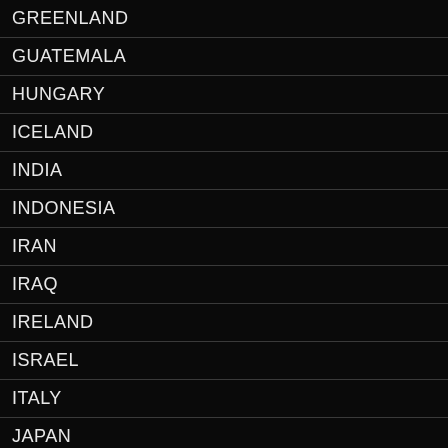GREENLAND
GUATEMALA
HUNGARY
ICELAND
INDIA
INDONESIA
IRAN
IRAQ
IRELAND
ISRAEL
ITALY
JAPAN
JORDAN